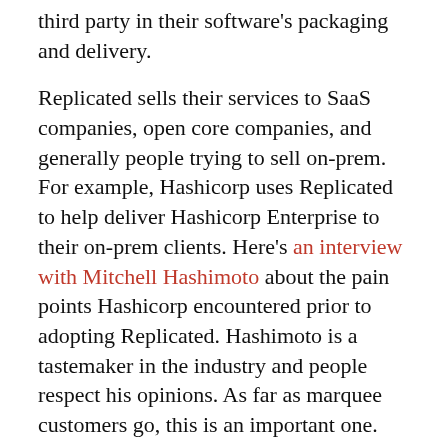third party in their software's packaging and delivery.
Replicated sells their services to SaaS companies, open core companies, and generally people trying to sell on-prem. For example, Hashicorp uses Replicated to help deliver Hashicorp Enterprise to their on-prem clients. Here's an interview with Mitchell Hashimoto about the pain points Hashicorp encountered prior to adopting Replicated. Hashimoto is a tastemaker in the industry and people respect his opinions. As far as marquee customers go, this is an important one.
Replicated cites the following benefits in their sales pitch:
Using Replicated allows software companies to sell into more environments. As an example, Replicated referenced a